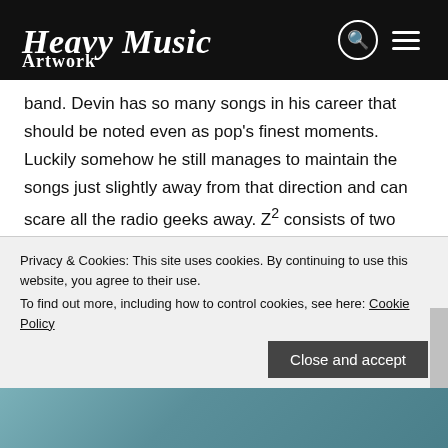Heavy Music Artwork
band. Devin has so many songs in his career that should be noted even as pop's finest moments. Luckily somehow he still manages to maintain the songs just slightly away from that direction and can scare all the radio geeks away. Z² consists of two albums released together. You have Devin Townsend Project album 'Sky Blue' and a 'Ziltoid' concept album, 'Dark Matters' which is a sequel to his earlier solo album 'Ziltoid the
Privacy & Cookies: This site uses cookies. By continuing to use this website, you agree to their use.
To find out more, including how to control cookies, see here: Cookie Policy
[Figure (photo): Bottom image strip showing a blue-green toned scene, partially visible]